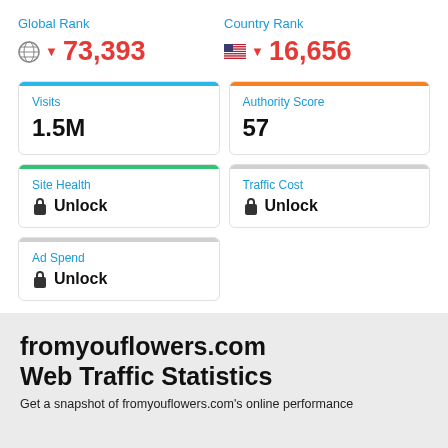Global Rank
▼ 73,393
Country Rank
▼ 16,656
Visits
1.5M
Authority Score
57
Site Health
🔒 Unlock
Traffic Cost
🔒 Unlock
Ad Spend
🔒 Unlock
fromyouflowers.com
Web Traffic Statistics
Get a snapshot of fromyouflowers.com's online performance